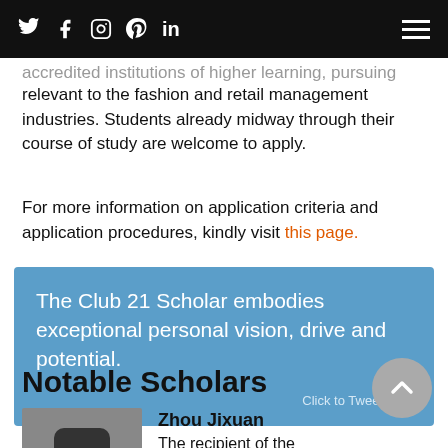social icons: Twitter, Facebook, Instagram, Pinterest, LinkedIn | hamburger menu
…accredited institutions of higher learning, pursuing work relevant to the fashion and retail management industries. Students already midway through their course of study are welcome to apply.
For more information on application criteria and application procedures, kindly visit this page.
[Figure (infographic): Blue quote box with white text: 'The Club 21 Scholar embodies exceptional personal vision, drive and potential.' with a 'Click to Tweet' button at the bottom right.]
Notable Scholars
[Figure (photo): Photo of a person, partially visible, showing head with dark hair]
Zhou Jixuan
The recipient of the